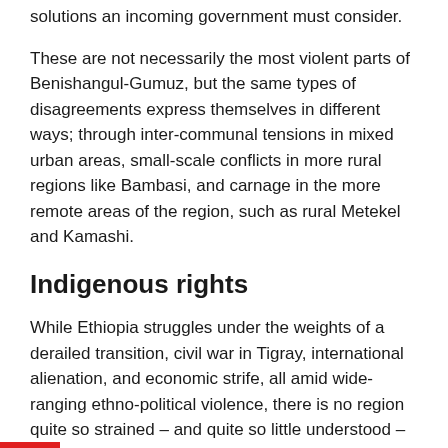solutions an incoming government must consider.
These are not necessarily the most violent parts of Benishangul-Gumuz, but the same types of disagreements express themselves in different ways; through inter-communal tensions in mixed urban areas, small-scale conflicts in more rural regions like Bambasi, and carnage in the more remote areas of the region, such as rural Metekel and Kamashi.
Indigenous rights
While Ethiopia struggles under the weights of a derailed transition, civil war in Tigray, international alienation, and economic strife, all amid wide-ranging ethno-political violence, there is no region quite so strained – and quite so little understood – as Benishangul-Gumuz.
The area comprising Benishangul-Gumuz formally became